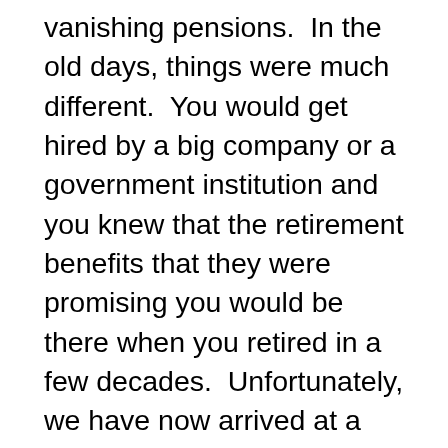vanishing pensions.  In the old days, things were much different.  You would get hired by a big company or a government institution and you knew that the retirement benefits that they were promising you would be there when you retired in a few decades.  Unfortunately, we have now arrived at a time when government institutions and big companies have promised far more than they are able to deliver, and “pension reform” has become one of the hot button issues all over the nation.  Many Americans that have been basing their financial futures on their pensions are waking up one day and finding that their pensions are either gone or have been cut back dramatically.  According to Northwestern University Professor John Rauh, the latest estimate of the total amount of unfunded